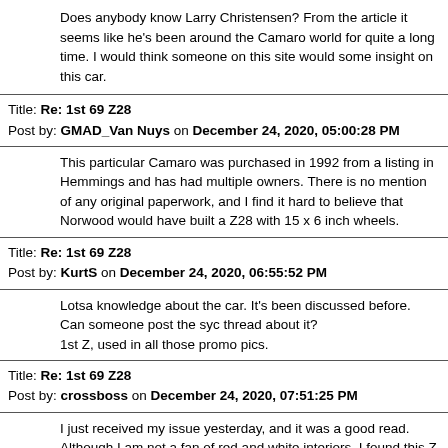Does anybody know Larry Christensen? From the article it seems like he's been around the Camaro world for quite a long time. I would think someone on this site would some insight on this car.
Title: Re: 1st 69 Z28
Post by: GMAD_Van Nuys on December 24, 2020, 05:00:28 PM
This particular Camaro was purchased in 1992 from a listing in Hemmings and has had multiple owners. There is no mention of any original paperwork, and I find it hard to believe that Norwood would have built a Z28 with 15 x 6 inch wheels.
Title: Re: 1st 69 Z28
Post by: KurtS on December 24, 2020, 06:55:52 PM
Lotsa knowledge about the car. It's been discussed before.
Can someone post the syc thread about it?
1st Z, used in all those promo pics.
Title: Re: 1st 69 Z28
Post by: crossboss on December 24, 2020, 07:51:25 PM
I just received my issue yesterday, and it was a good read. Although I am not a fan of red and white interiors, I found this Z a beautiful car. I am no Camaro expert, so I cannot comment